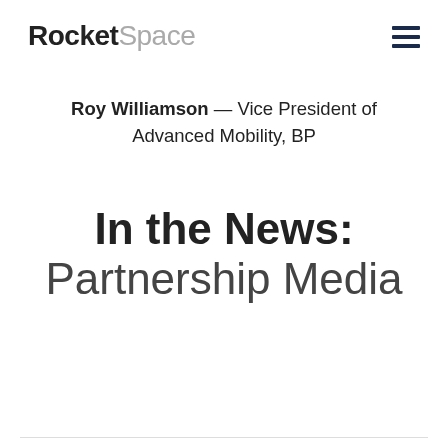RocketSpace
Roy Williamson — Vice President of Advanced Mobility, BP
In the News: Partnership Media